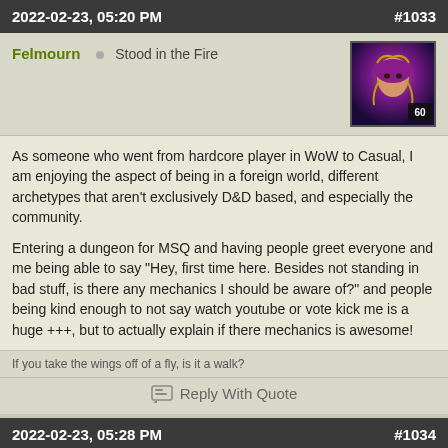2022-02-23, 05:20 PM  #1033
Felmourn  Stood in the Fire
[Figure (illustration): User avatar showing a fantasy character portrait with level 60 badge]
As someone who went from hardcore player in WoW to Casual, I am enjoying the aspect of being in a foreign world, different archetypes that aren't exclusively D&D based, and especially the community.

Entering a dungeon for MSQ and having people greet everyone and me being able to say "Hey, first time here. Besides not standing in bad stuff, is there any mechanics I should be aware of?" and people being kind enough to not say watch youtube or vote kick me is a huge +++, but to actually explain if there mechanics is awesome!
If you take the wings off of a fly, is it a walk?
Reply With Quote
2022-02-23, 05:28 PM  #1034
Duroga  Field Marshal
[Figure (advertisement): Victoria's Secret advertisement showing a woman with curly hair and text SHOP THE COLLECTION with SHOP NOW button]